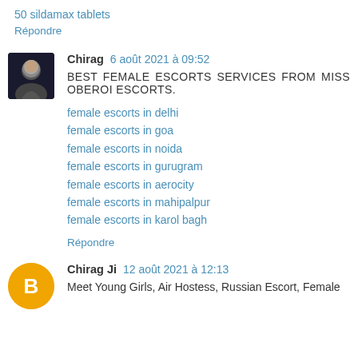50 sildamax tablets
Répondre
Chirag 6 août 2021 à 09:52
BEST FEMALE ESCORTS SERVICES FROM MISS OBEROI ESCORTS.
female escorts in delhi
female escorts in goa
female escorts in noida
female escorts in gurugram
female escorts in aerocity
female escorts in mahipalpur
female escorts in karol bagh
Répondre
Chirag Ji 12 août 2021 à 12:13
Meet Young Girls, Air Hostess, Russian Escort, Female